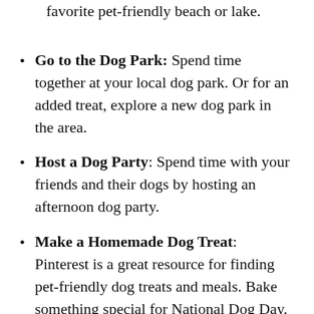favorite pet-friendly beach or lake.
Go to the Dog Park: Spend time together at your local dog park. Or for an added treat, explore a new dog park in the area.
Host a Dog Party: Spend time with your friends and their dogs by hosting an afternoon dog party.
Make a Homemade Dog Treat: Pinterest is a great resource for finding pet-friendly dog treats and meals. Bake something special for National Dog Day.
Buy a New Toy: Bring home your dog a new